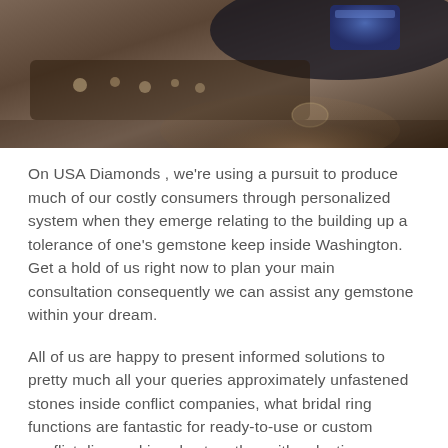[Figure (photo): Overhead/angled photo of a jewelry display counter with small gemstones or rings on a dark tray, a person's hand visible, and a blue item (possibly a box or device) in the upper right area. Dark, warm-toned image.]
On USA Diamonds , we're using a pursuit to produce much of our costly consumers through personalized system when they emerge relating to the building up a tolerance of one's gemstone keep inside Washington. Get a hold of us right now to plan your main consultation consequently we can assist any gemstone within your dream.
All of us are happy to present informed solutions to pretty much all your queries approximately unfastened stones inside conflict companies, what bridal ring functions are fantastic for ready-to-use or custom conflict diamond jewelry, together with selecting an excellent bridal ring for the purpose of you.